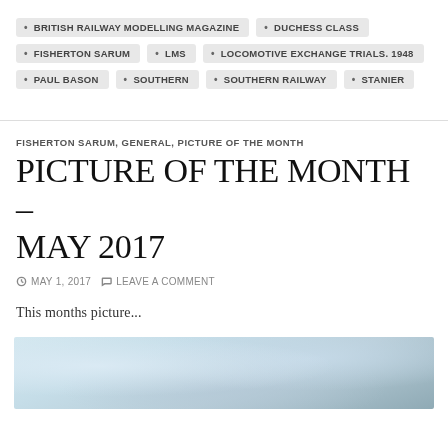BRITISH RAILWAY MODELLING MAGAZINE
DUCHESS CLASS
FISHERTON SARUM
LMS
LOCOMOTIVE EXCHANGE TRIALS. 1948
PAUL BASON
SOUTHERN
SOUTHERN RAILWAY
STANIER
FISHERTON SARUM, GENERAL, PICTURE OF THE MONTH
PICTURE OF THE MONTH – MAY 2017
MAY 1, 2017   LEAVE A COMMENT
This months picture...
[Figure (photo): Partial view of a photograph showing a pale blue sky with soft clouds, likely a railway or landscape scene.]